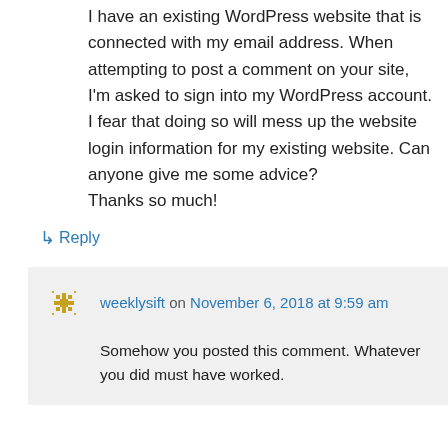I have an existing WordPress website that is connected with my email address. When attempting to post a comment on your site, I'm asked to sign into my WordPress account. I fear that doing so will mess up the website login information for my existing website. Can anyone give me some advice?

Thanks so much!
↳ Reply
weeklysift on November 6, 2018 at 9:59 am
Somehow you posted this comment. Whatever you did must have worked.